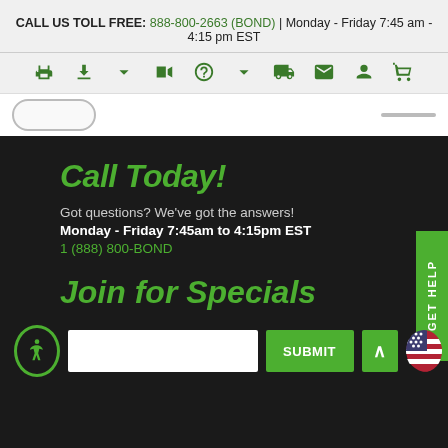CALL US TOLL FREE: 888-800-2663 (BOND) | Monday - Friday 7:45 am - 4:15 pm EST
[Figure (screenshot): Navigation icon bar with green icons: print, download, video, help, shipping, mail, account, cart]
Call Today!
Got questions? We've got the answers!
Monday - Friday 7:45am to 4:15pm EST
1 (888) 800-BOND
Join for Specials
SUBMIT